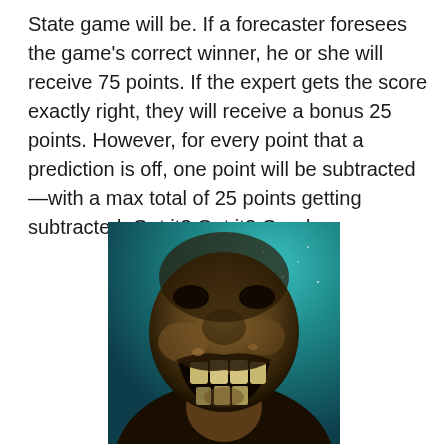State game will be. If a forecaster foresees the game's correct winner, he or she will receive 75 points. If the expert gets the score exactly right, they will receive a bonus 25 points. However, for every point that a prediction is off, one point will be subtracted—with a max total of 25 points getting subtracted. Get it? Got it? Good.
[Figure (photo): A dramatic close-up photo of a person with a wide open mouth showing teeth, laughing or shouting, with a dark bronze/golden skin tone against a teal/blue starry background.]